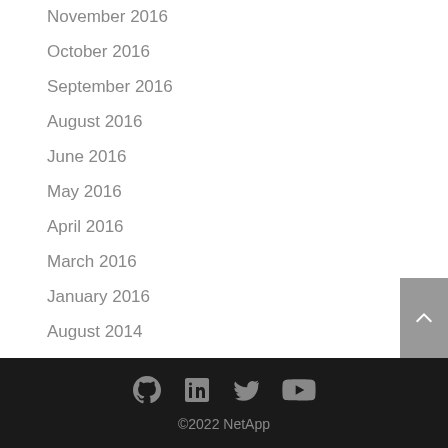November 2016
October 2016
September 2016
August 2016
June 2016
May 2016
April 2016
March 2016
January 2016
August 2014
©2022 NetApp